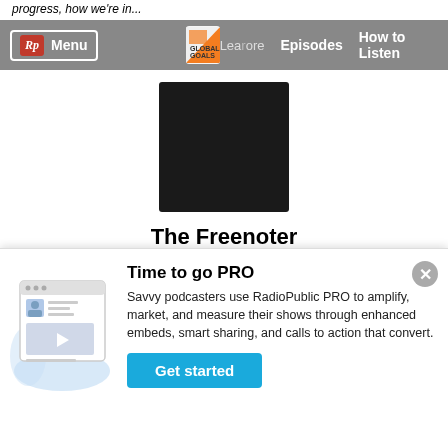progress, how we're in...
Rp Menu | Learn more | Episodes | How to Listen
[Figure (photo): Black square podcast cover art for The Freenoter]
The Freenoter
Introducing The Freenoter! There are lots of resources out there on how to become a paid speaker or keynoter, but what if you speak to build your business, as a
[Figure (illustration): RadioPublic PRO promotional illustration showing a podcast website with embed player]
Time to go PRO
Savvy podcasters use RadioPublic PRO to amplify, market, and measure their shows through enhanced embeds, smart sharing, and calls to action that convert.
Get started